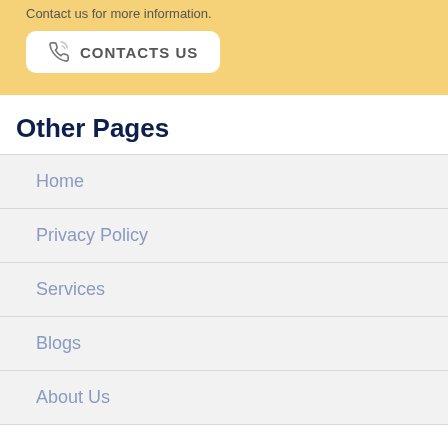Contact us for more information.
CONTACTS US
Other Pages
Home
Privacy Policy
Services
Blogs
About Us